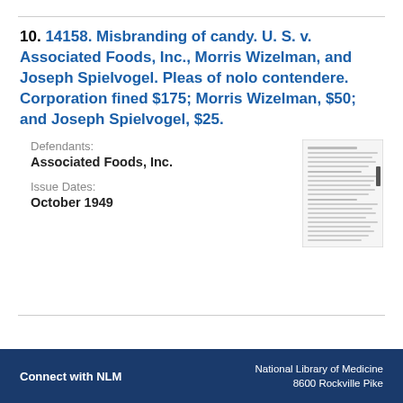10. 14158. Misbranding of candy. U. S. v. Associated Foods, Inc., Morris Wizelman, and Joseph Spielvogel. Pleas of nolo contendere. Corporation fined $175; Morris Wizelman, $50; and Joseph Spielvogel, $25.
Defendants: Associated Foods, Inc.
Issue Dates: October 1949
[Figure (other): Thumbnail image of a document page with dense text]
Connect with NLM | National Library of Medicine 8600 Rockville Pike